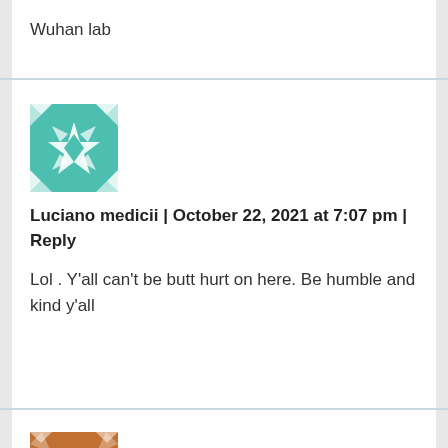Wuhan lab
[Figure (illustration): Teal/green geometric quilt-pattern avatar icon with star and diamond shapes]
Luciano medicii | October 22, 2021 at 7:07 pm | Reply
Lol . Y’all can’t be butt hurt on here. Be humble and kind y’all
[Figure (illustration): Brown/orange geometric robot-face pattern avatar icon with square dots]
T man | October 25, 2021 at 9:16 pm | Reply